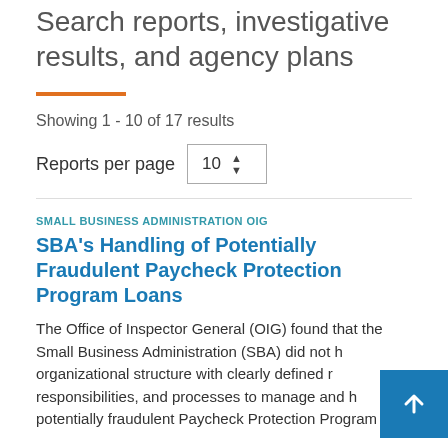Search reports, investigative results, and agency plans
Showing 1 - 10 of 17 results
Reports per page 10
SMALL BUSINESS ADMINISTRATION OIG
SBA's Handling of Potentially Fraudulent Paycheck Protection Program Loans
The Office of Inspector General (OIG) found that the Small Business Administration (SBA) did not have an organizational structure with clearly defined roles, responsibilities, and processes to manage and handle potentially fraudulent Paycheck Protection Program